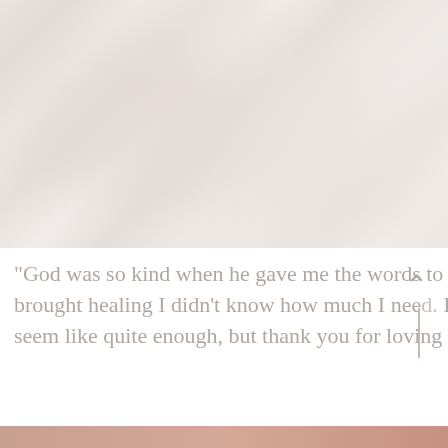[Figure (illustration): A faded, washed-out illustration or painting featuring figures in robes or religious/classical attire with decorative background elements. The image is heavily faded with a pale pinkish-beige tone.]
"God was so kind when he gave me the words to this book and I am so grateful for the way it brought healing I didn't know how much I need. If you've bought my book, thank you." It does seem like quite enough, but thank you for loving it as much as I do.